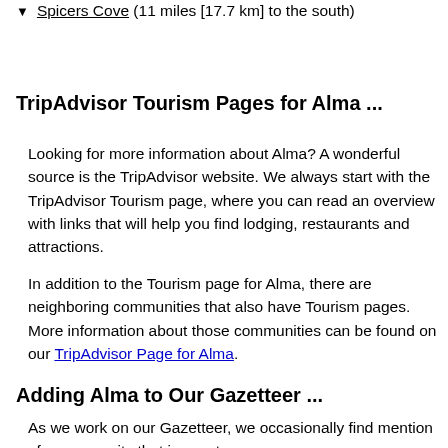▼ Spicers Cove (11 miles [17.7 km] to the south)
TripAdvisor Tourism Pages for Alma ...
Looking for more information about Alma? A wonderful source is the TripAdvisor website. We always start with the TripAdvisor Tourism page, where you can read an overview with links that will help you find lodging, restaurants and attractions.
In addition to the Tourism page for Alma, there are neighboring communities that also have Tourism pages. More information about those communities can be found on our TripAdvisor Page for Alma.
Adding Alma to Our Gazetteer ...
As we work on our Gazetteer, we occasionally find mention of a community that is new to us.